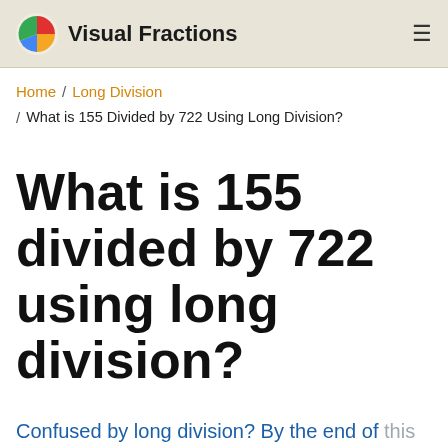Visual Fractions
Home / Long Division / What is 155 Divided by 722 Using Long Division?
What is 155 divided by 722 using long division?
Confused by long division? By the end of this article you'll be able to divide 155 by 722 using long division and be able to